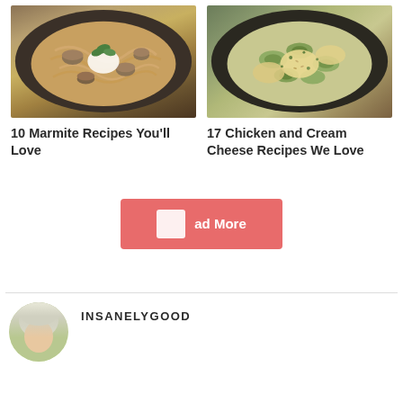[Figure (photo): Top-down view of mushroom pasta in a dark pan with cream and herbs]
10 Marmite Recipes You'll Love
[Figure (photo): Top-down view of chicken and zucchini in cream sauce in a dark skillet with green herbs]
17 Chicken and Cream Cheese Recipes We Love
[Figure (other): Load More button with red/salmon background and white square icon]
[Figure (photo): Partial author avatar photo showing person with light hair]
INSANELYGOOD